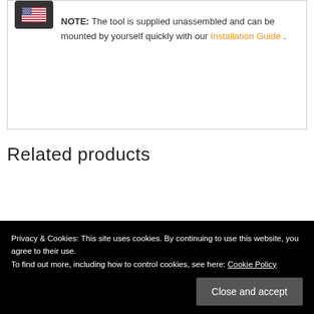NOTE: The tool is supplied unassembled and can be mounted by yourself quickly with our Installation Guide .
Related products
Privacy & Cookies: This site uses cookies. By continuing to use this website, you agree to their use.
To find out more, including how to control cookies, see here: Cookie Policy